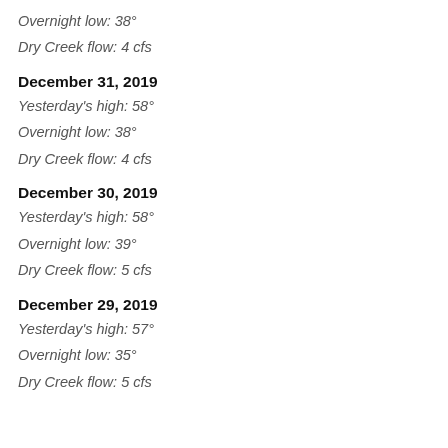Overnight low: 38°
Dry Creek flow: 4 cfs
December 31, 2019
Yesterday's high: 58°
Overnight low: 38°
Dry Creek flow: 4 cfs
December 30, 2019
Yesterday's high: 58°
Overnight low: 39°
Dry Creek flow: 5 cfs
December 29, 2019
Yesterday's high: 57°
Overnight low: 35°
Dry Creek flow: 5 cfs